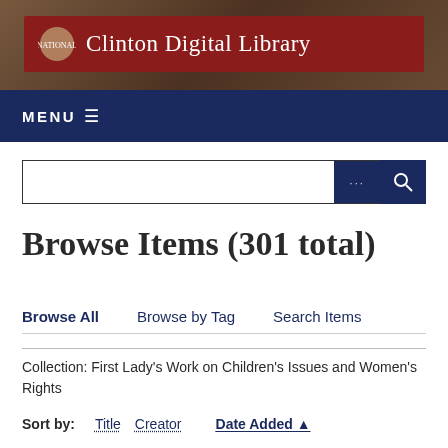Clinton Digital Library
MENU ☰
[Figure (screenshot): Search input box with ellipsis and magnifying glass search button on dark navy background]
Browse Items (301 total)
Browse All   Browse by Tag   Search Items
Collection: First Lady's Work on Children's Issues and Women's Rights
Sort by:   Title   Creator   Date Added ▲